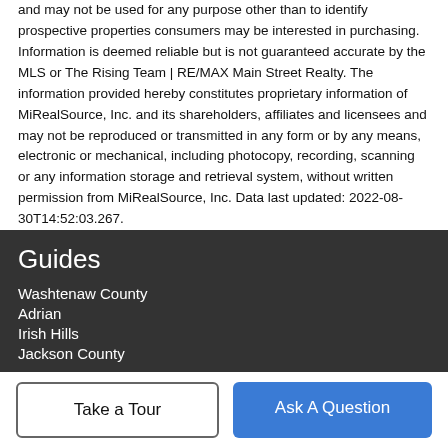and may not be used for any purpose other than to identify prospective properties consumers may be interested in purchasing. Information is deemed reliable but is not guaranteed accurate by the MLS or The Rising Team | RE/MAX Main Street Realty. The information provided hereby constitutes proprietary information of MiRealSource, Inc. and its shareholders, affiliates and licensees and may not be reproduced or transmitted in any form or by any means, electronic or mechanical, including photocopy, recording, scanning or any information storage and retrieval system, without written permission from MiRealSource, Inc. Data last updated: 2022-08-30T14:52:03.267.
Guides
Washtenaw County
Adrian
Irish Hills
Jackson County
Take a Tour
Ask A Question